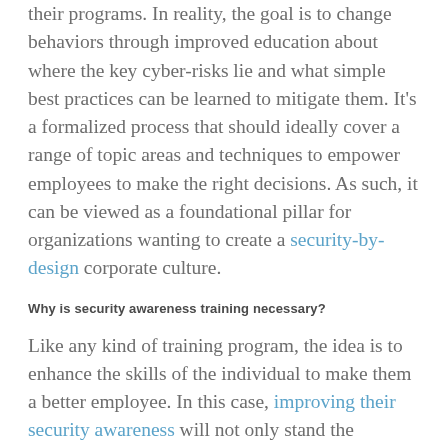their programs. In reality, the goal is to change behaviors through improved education about where the key cyber-risks lie and what simple best practices can be learned to mitigate them. It's a formalized process that should ideally cover a range of topic areas and techniques to empower employees to make the right decisions. As such, it can be viewed as a foundational pillar for organizations wanting to create a security-by-design corporate culture.
Why is security awareness training necessary?
Like any kind of training program, the idea is to enhance the skills of the individual to make them a better employee. In this case, improving their security awareness will not only stand the individual in good stead as they navigate various roles, but it will reduce the risk of a potentially damaging security